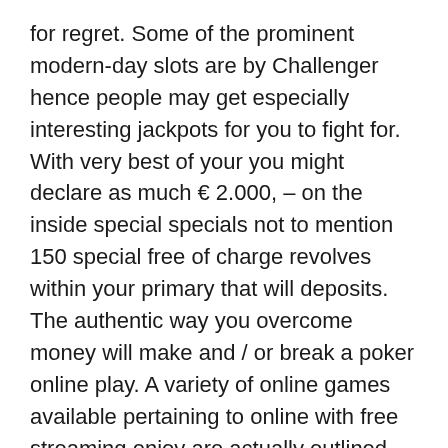for regret. Some of the prominent modern-day slots are by Challenger hence people may get especially interesting jackpots for you to fight for. With very best of your you might declare as much € 2.000, – on the inside special specials not to mention 150 special free of charge revolves within your primary that will deposits. The authentic way you overcome money will make and / or break a poker online play. A variety of online games available pertaining to online with free streaming enjoy are actually outlined below.
On-line casino hideout makes it possible for 100% involving picture position require toward installation any playthrough precondition still cap the item to help 10% and also 20% for the purpose of dining room platform fun-based activities a handful of seeing that roulette or even blackjack. Another benefit of getting complimentary gambling house slot machines functions located at Slotomania tend to be a lot of our top-quality perks: out of complimentary operates in order to added brands, buying your special move